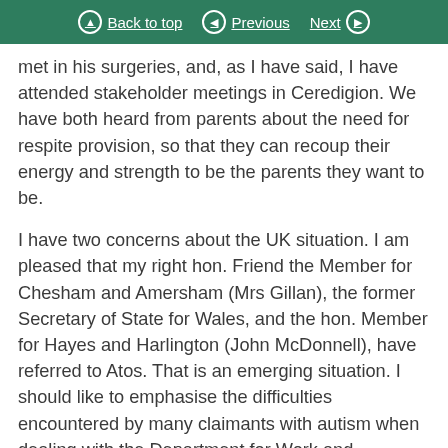Back to top | Previous | Next
met in his surgeries, and, as I have said, I have attended stakeholder meetings in Ceredigion. We have both heard from parents about the need for respite provision, so that they can recoup their energy and strength to be the parents they want to be.
I have two concerns about the UK situation. I am pleased that my right hon. Friend the Member for Chesham and Amersham (Mrs Gillan), the former Secretary of State for Wales, and the hon. Member for Hayes and Harlington (John McDonnell), have referred to Atos. That is an emerging situation. I should like to emphasise the difficulties encountered by many claimants with autism when dealing with the Department for Work and Pensions